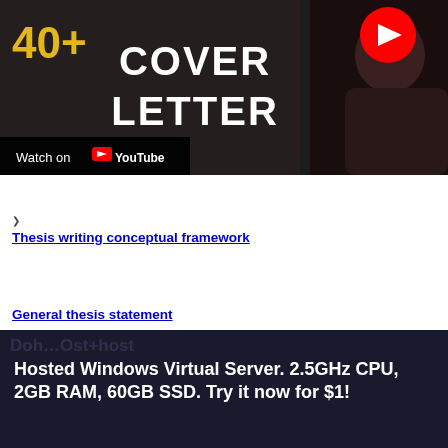[Figure (screenshot): YouTube video thumbnail showing 'Cover Letter' text in large white bold font on dark background, with yellow numbers top left, red YouTube play button circle top right, and a 'Watch on YouTube' bar at bottom left. A person in dark clothing is partially visible on the right side.]
Thesis writing conceptual framework
General thesis statement
Hosted Windows Virtual Server. 2.5GHz CPU, 2GB RAM, 60GB SSD. Try it now for $1!